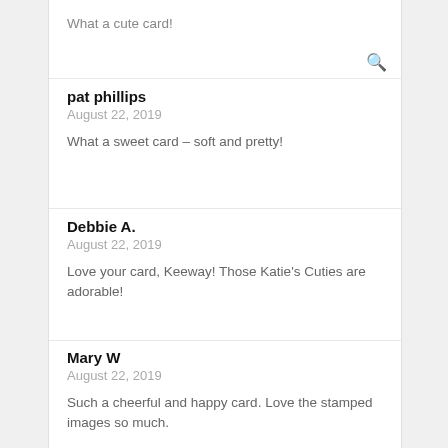What a cute card!
pat phillips
August 22, 2019

What a sweet card – soft and pretty!
Debbie A.
August 22, 2019

Love your card, Keeway! Those Katie's Cuties are adorable!
Mary W
August 22, 2019

Such a cheerful and happy card. Love the stamped images so much.